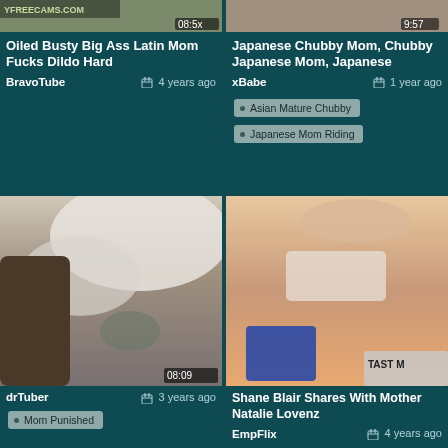[Figure (screenshot): Video thumbnail top-left - partial view of YFREECAMS.COM watermark, duration 08:5x]
[Figure (screenshot): Video thumbnail top-right - partial view, duration 9:57]
Oiled Busty Big Ass Latin Mom Fucks Dildo Hard
Japanese Chubby Mom, Chubby Japanese Mom, Japanese
BravoTube   4 years ago
xBabe   1 year ago
Asian Mature Chubby
Japanese Mom Riding
[Figure (screenshot): Video thumbnail bottom-left - woman with tattoo lying on white pillow, duration 08:09]
[Figure (screenshot): Video thumbnail bottom-right - close up intimate scene, TAST watermark visible]
Shane Blair Shares With Mother Natalie Lovenz
drTuber   3 years ago
EmpFlix   4 years ago
Mom Punished